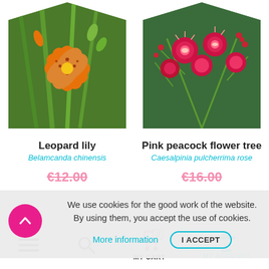[Figure (photo): Orange and red leopard lily flower (Belamcanda chinensis) with green foliage in background, clipped in pentagon/house shape]
[Figure (photo): Pink peacock flower tree (Caesalpinia pulcherrima rose) with bright red and pink blossoms and fern-like leaves, clipped in pentagon/house shape]
Leopard lily
Belamcanda chinensis
Pink peacock flower tree
Caesalpinia pulcherrima rose
€12.00
€16.00
We use cookies for the good work of the website. By using them, you accept the use of cookies.
More information
I ACCEPT
MY CART  MY ACCOUNT